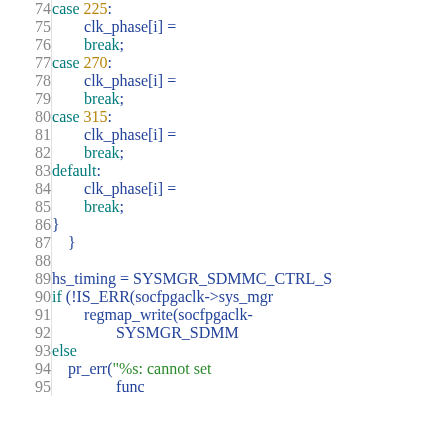[Figure (screenshot): Source code listing lines 74-95, showing C code with switch-case statements for clk_phase assignment and hs_timing/regmap_write/pr_err calls. Line numbers in gray on left, keywords in teal, numbers in gold, identifiers in blue, string literals in green.]